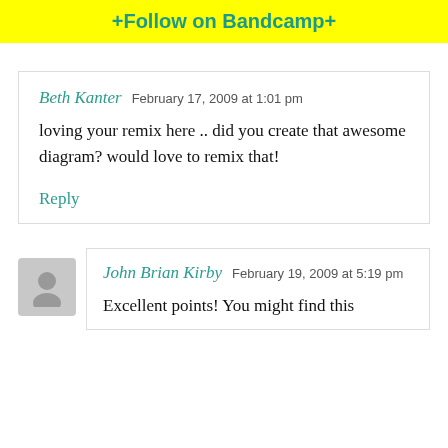+Follow on Bandcamp+
Beth Kanter  February 17, 2009 at 1:01 pm
loving your remix here .. did you create that awesome diagram? would love to remix that!
Reply
John Brian Kirby  February 19, 2009 at 5:19 pm
Excellent points! You might find this